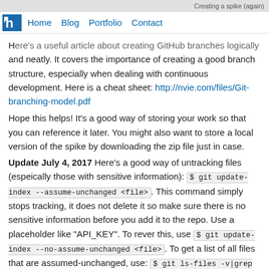Creating a spike (again)
Home  Blog  Portfolio  Contact
Here's a useful article about creating GitHub branches logically and neatly. It covers the importance of creating a good branch structure, especially when dealing with continuous development. Here is a cheat sheet: http://nvie.com/files/Git-branching-model.pdf
Hope this helps! It's a good way of storing your work so that you can reference it later. You might also want to store a local version of the spike by downloading the zip file just in case.
Update July 4, 2017 Here's a good way of untracking files (espeically those with sensitive information): $ git update-index --assume-unchanged <file>. This command simply stops tracking, it does not delete it so make sure there is no sensitive information before you add it to the repo. Use a placeholder like "API_KEY". To rever this, use $ git update-index --no-assume-unchanged <file>. To get a list of all files that are assumed-unchanged, use: $ git ls-files -v|grep '^h'.
Posted in General Programming with GitHub, Terminal, Unix